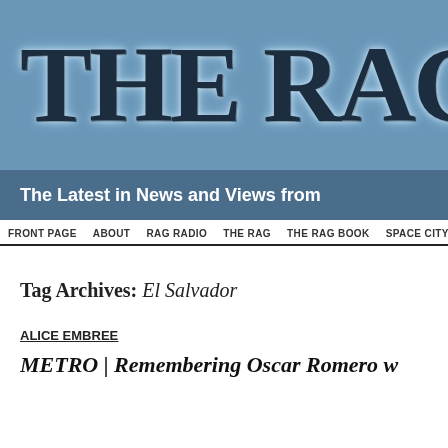THE RAG
The Latest in News and Views from
FRONT PAGE  ABOUT  RAG RADIO  THE RAG  THE RAG BOOK  SPACE CITY!
Tag Archives: El Salvador
ALICE EMBREE
METRO | Remembering Oscar Romero w